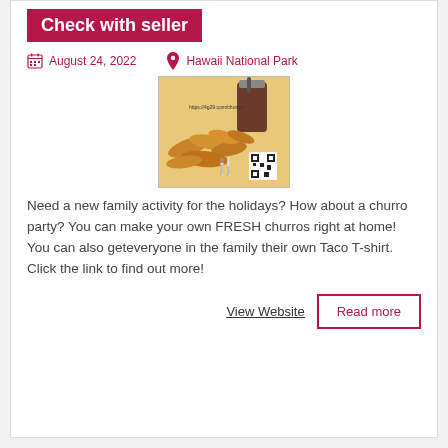Check with seller
August 24, 2022
Hawaii National Park
[Figure (photo): Photo of churros and a drink with a QR code and URL https://4g29.com/churros]
Need a new family activity for the holidays? How about a churro party? You can make your own FRESH churros right at home! You can also geteveryone in the family their own Taco T-shirt. Click the link to find out more!
View Website
Read more